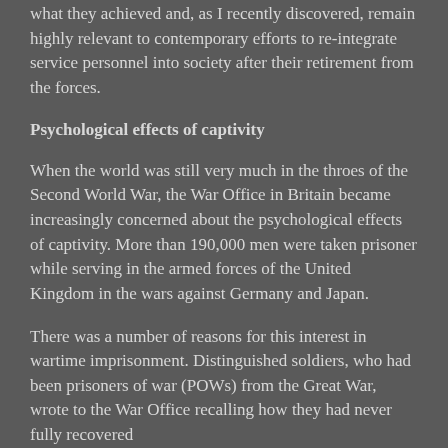what they achieved and, as I recently discovered, remain highly relevant to contemporary efforts to re-integrate service personnel into society after their retirement from the forces.
Psychological effects of captivity
When the world was still very much in the throes of the Second World War, the War Office in Britain became increasingly concerned about the psychological effects of captivity. More than 190,000 men were taken prisoner while serving in the armed forces of the United Kingdom in the wars against Germany and Japan.
There was a number of reasons for this interest in wartime imprisonment. Distinguished soldiers, who had been prisoners of war (POWs) from the Great War, wrote to the War Office recalling how they had never fully recovered